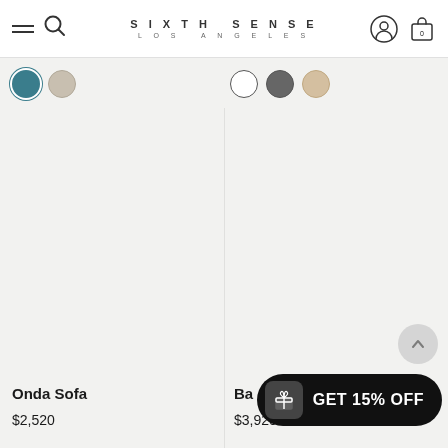SIXTH SENSE LOS ANGELES
[Figure (illustration): Color swatches left: teal selected, beige-light]
[Figure (illustration): Color swatches right: white outline, slate, sand]
Onda Sofa
$2,520
Ba...
$3,920
GET 15% OFF